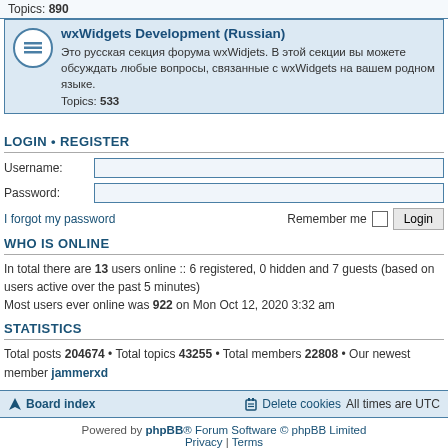Topics: 890
wxWidgets Development (Russian) — Это русская секция форума wxWidjets. В этой секции вы можете обсуждать любые вопросы, связанные с wxWidgets на вашем родном языке. Topics: 533
LOGIN • REGISTER
Username:
Password:
I forgot my password
Remember me  Login
WHO IS ONLINE
In total there are 13 users online :: 6 registered, 0 hidden and 7 guests (based on users active over the past 5 minutes)
Most users ever online was 922 on Mon Oct 12, 2020 3:32 am
STATISTICS
Total posts 204674 • Total topics 43255 • Total members 22808 • Our newest member jammerxd
Board index   Delete cookies   All times are UTC
Powered by phpBB® Forum Software © phpBB Limited
Privacy | Terms